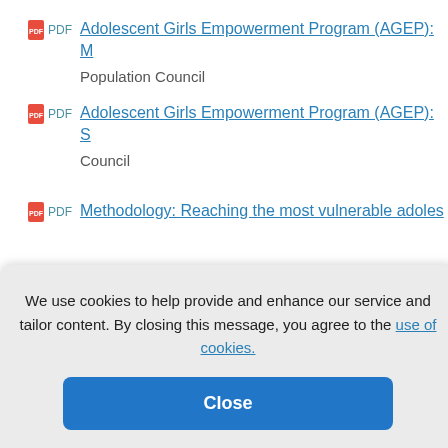PDF Adolescent Girls Empowerment Program (AGEP): M... Population Council
PDF Adolescent Girls Empowerment Program (AGEP): S... Council
PDF Methodology: Reaching the most vulnerable adoles...
Link Addressing child marriage and adolescent pregnanc... and equality in education, Stephanie Psaki
We use cookies to help provide and enhance our service and tailor content. By closing this message, you agree to the use of cookies.
Close